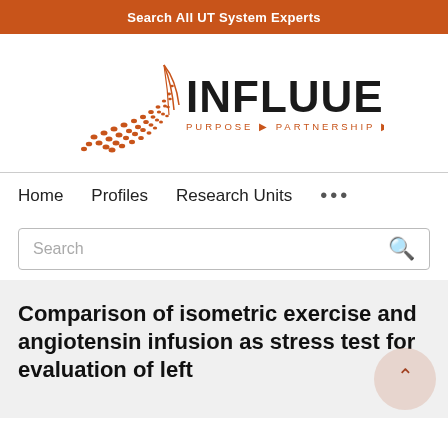Search All UT System Experts
[Figure (logo): Influuent logo with orange geometric wing/leaf mark and text INFLUUENT PURPOSE PARTNERSHIP PROGRESS]
Home   Profiles   Research Units   ...
Search
Comparison of isometric exercise and angiotensin infusion as stress test for evaluation of left